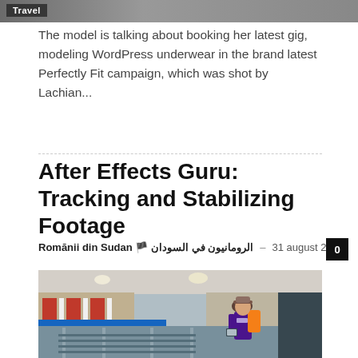[Figure (photo): Top cropped photo with Travel badge label, showing outdoor/nature scene]
The model is talking about booking her latest gig, modeling WordPress underwear in the brand latest Perfectly Fit campaign, which was shot by Lachian...
After Effects Guru: Tracking and Stabilizing Footage
Romānii din Sudan 🏴 الرومانيون في السودان – 31 august 2019   0
[Figure (photo): Man with hat and backpack standing at train station platform, looking at phone/tablet]